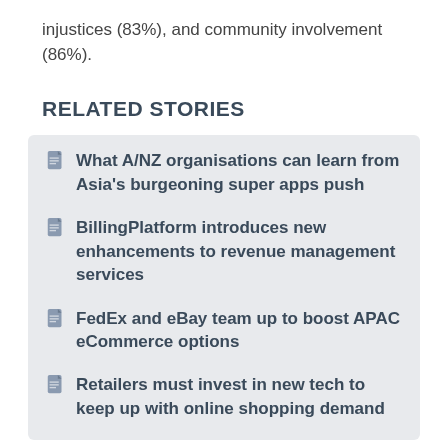injustices (83%), and community involvement (86%).
RELATED STORIES
What A/NZ organisations can learn from Asia's burgeoning super apps push
BillingPlatform introduces new enhancements to revenue management services
FedEx and eBay team up to boost APAC eCommerce options
Retailers must invest in new tech to keep up with online shopping demand